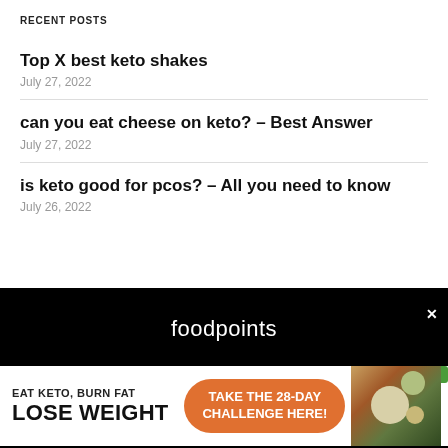RECENT POSTS
Top X best keto shakes
July 27, 2022
can you eat cheese on keto? – Best Answer
July 27, 2022
is keto good for pcos? – All you need to know
July 26, 2022
[Figure (infographic): Advertisement banner with black background showing 'foodpoints' brand name in white, with a close (x) button. Bottom half shows promotional ad: 'EAT KETO, BURN FAT / LOSE WEIGHT' on left, orange pill-shaped button 'TAKE THE 28-DAY CHALLENGE HERE!' in center, green 'SPECIAL OFFER' badge top right, food imagery on right.]